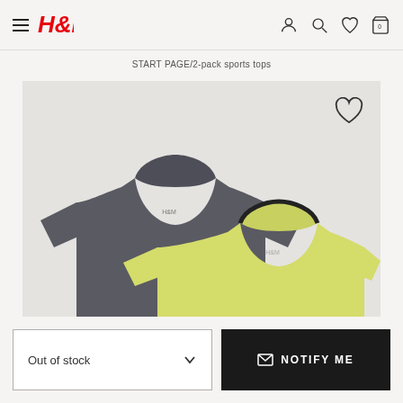H&M navigation header with hamburger menu, H&M logo, user, search, wishlist, and cart icons
START PAGE/2-pack sports tops
[Figure (photo): Two sports t-shirts — one dark gray and one yellow-green — displayed on a light gray background. A heart/wishlist icon appears in the top-right corner of the image.]
Out of stock
NOTIFY ME